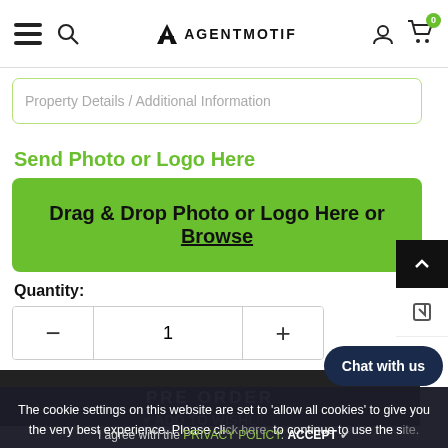[Figure (screenshot): AgentMotif website navigation bar with hamburger menu, search icon, logo, account icon, and cart with 0 badge]
Property Details / Additional Information
Send Photo or Logo Here
Drag & Drop Photo or Logo Here or Browse
Quantity:
- 1 +
PRE ORDER
The cookie settings on this website are set to 'allow all cookies' to give you the very best experience. Please cli to continue to use the s
Chat with us
I agree with the PRIVACY POLICY. ACCEPT ✔